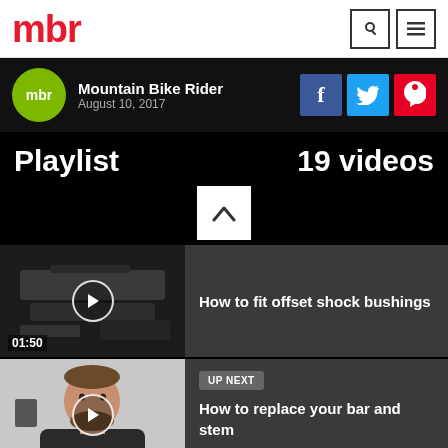mbr
Mountain Bike Rider
August 10, 2017
Playlist
19 videos
[Figure (screenshot): Video thumbnail showing close-up of bike part with play button and duration 01:50]
How to fit offset shock bushings
[Figure (screenshot): Video thumbnail showing a man with beard, duration 08:32]
UP NEXT  How to replace your bar and stem